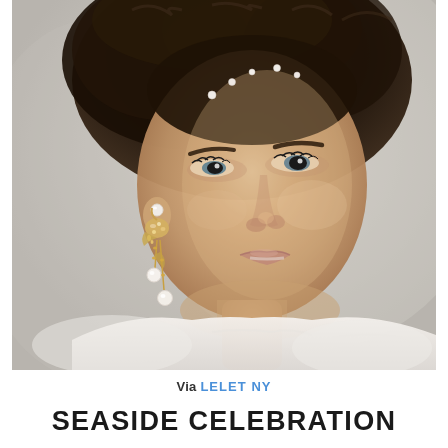[Figure (photo): Close-up portrait of a young woman with curly dark hair styled up with pearl hair accessories, wearing an elaborate dangling gold and crystal earring with pearl drops, dressed in a white ruffled top, photographed against a light gray background.]
Via LELET NY
SEASIDE CELEBRATION